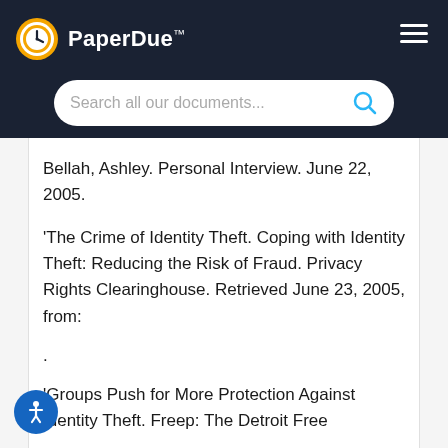PaperDue™ — Search all our documents...
Bellah, Ashley. Personal Interview. June 22, 2005.
'The Crime of Identity Theft. Coping with Identity Theft: Reducing the Risk of Fraud. Privacy Rights Clearinghouse. Retrieved June 23, 2005, from:
.
'Groups Push for More Protection Against Identity Theft. Freep: The Detroit Free